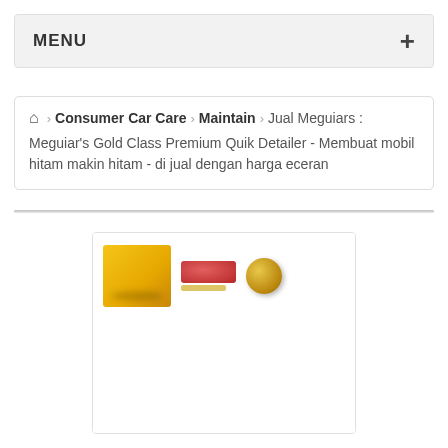MENU
Consumer Car Care › Maintain › Jual Meguiars : Meguiar's Gold Class Premium Quik Detailer - Membuat mobil hitam makin hitam - di jual dengan harga eceran
[Figure (photo): Product image of Meguiar's Gold Class Premium Quik Detailer showing yellow bottle, red brand logo, and gold cap]